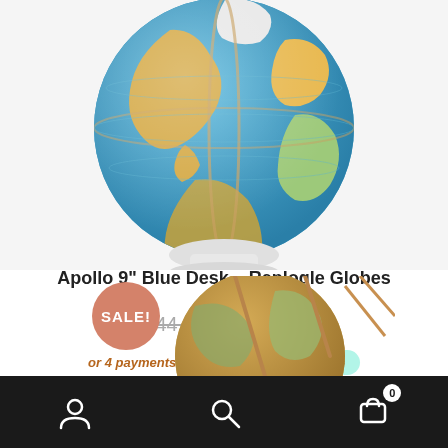[Figure (photo): Blue desk globe (Apollo 9-inch) on a white stand, showing Americas and Atlantic Ocean, partially cropped at top]
Apollo 9″ Blue Desk – Replogle Globes
$44.99  $37.50
or 4 payments of $9.38 with afterpay
ADD TO CART
[Figure (photo): Partial view of a second globe with antique/brown coloring and brass meridian ring, with a SALE! badge]
User icon | Search icon | Cart (0)